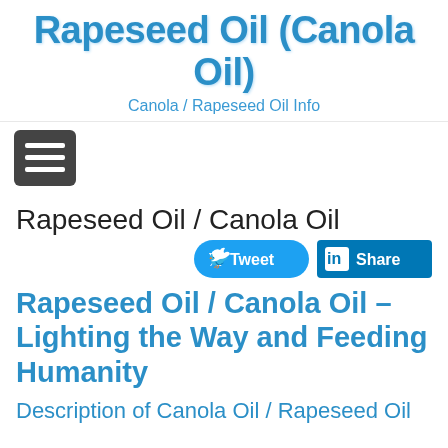Rapeseed Oil (Canola Oil)
Canola / Rapeseed Oil Info
[Figure (other): Hamburger menu button (three horizontal lines on dark background)]
Rapeseed Oil / Canola Oil
[Figure (other): Tweet and Share social media buttons]
Rapeseed Oil / Canola Oil – Lighting the Way and Feeding Humanity
Description of Canola Oil / Rapeseed Oil